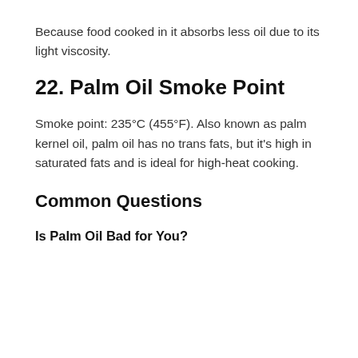Because food cooked in it absorbs less oil due to its light viscosity.
22. Palm Oil Smoke Point
Smoke point: 235°C (455°F). Also known as palm kernel oil, palm oil has no trans fats, but it's high in saturated fats and is ideal for high-heat cooking.
Common Questions
Is Palm Oil Bad for You?